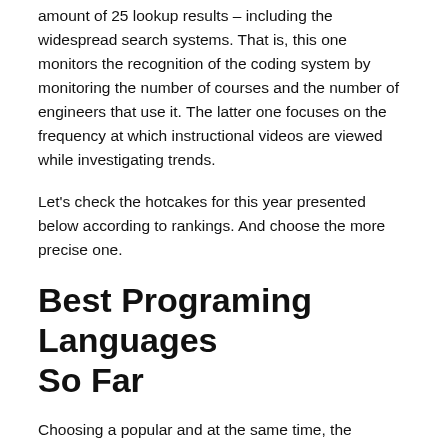amount of 25 lookup results – including the widespread search systems. That is, this one monitors the recognition of the coding system by monitoring the number of courses and the number of engineers that use it. The latter one focuses on the frequency at which instructional videos are viewed while investigating trends.
Let's check the hotcakes for this year presented below according to rankings. And choose the more precise one.
Best Programing Languages So Far
Choosing a popular and at the same time, the understandable language these days is quite a